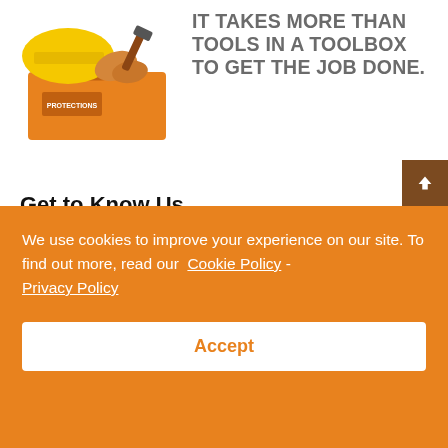[Figure (illustration): Toolbox with yellow hard hat and work gloves, orange toolbox branding visible, with hammer in background]
IT TAKES MORE THAN TOOLS IN A TOOLBOX TO GET THE JOB DONE.
Get to Know Us
Jan 13, 2020 | 0 comments
Cookie consent banner text (partially visible): some blog preview text
We use cookies to improve your experience on our site. To find out more, read our Cookie Policy - Privacy Policy
Accept